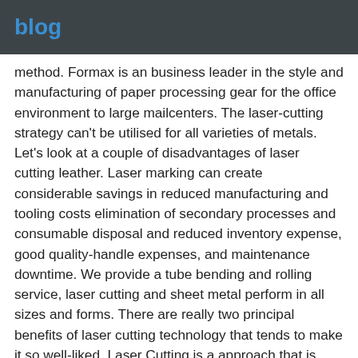blog
method. Formax is an business leader in the style and manufacturing of paper processing gear for the office environment to large mailcenters. The laser-cutting strategy can't be utilised for all varieties of metals. Let's look at a couple of disadvantages of laser cutting leather. Laser marking can create considerable savings in reduced manufacturing and tooling costs elimination of secondary processes and consumable disposal and reduced inventory expense, good quality-handle expenses, and maintenance downtime. We provide a tube bending and rolling service, laser cutting and sheet metal perform in all sizes and forms. There are really two principal benefits of laser cutting technology that tends to make it so well-liked. Laser Cutting is a approach that is employed in modern day and has been a ideal example for the next step in technology. A few examples of such benefits are a reduction in total operate time, precision top quality work,